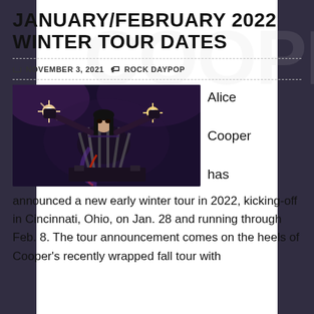JANUARY/FEBRUARY 2022 WINTER TOUR DATES
NOVEMBER 3, 2021   ROCK DAYPOP
[Figure (photo): Alice Cooper performing on stage, arms outstretched, wearing dark theatrical costume with sparkle effects on hands, dramatic stage lighting]
Alice Cooper has
announced a new early winter tour in 2022, kicking-off in Cincinnati, Ohio, on Jan. 28 and running through Feb. 8. The tour announcement comes on the heels of Cooper's recently wrapped fall tour with